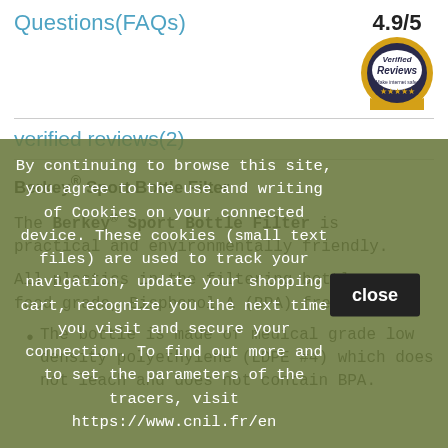Questions(FAQs)
4.9/5
[Figure (logo): Verified Reviews badge — circular gold and dark emblem with text 'Verified Reviews Make internet safer' and stars]
verified reviews(2)
Berkey® Sport Bottle Filter
The Berkey® Sport Bottle Filter is practical and environmentally friendly.
All plastics in the filtering bottle are food grade, Bisphenol A (BPA) free :
The bottle is made of medical grade low density polyethylene (LDPE #4) which does not leach and does not contain BPA.
By continuing to browse this site, you agree to the use and writing of Cookies on your connected device. These cookies (small text files) are used to track your navigation, update your shopping cart, recognize you the next time you visit and secure your connection. To find out more and to set the parameters of the tracers, visit https://www.cnil.fr/en